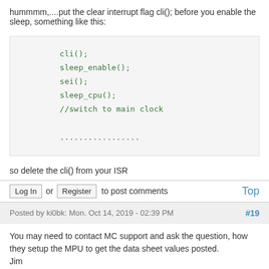hummmm,....put the clear interrupt flag cli(); before you enable the sleep, something like this:
[Figure (screenshot): Code block showing: cli(); sleep_enable(); sei(); sleep_cpu(); //switch to main clock ...............]
so delete the cli() from your ISR
Log In or Register to post comments    Top
Posted by ki0bk: Mon. Oct 14, 2019 - 02:39 PM   #19
You may need to contact MC support and ask the question, how they setup the MPU to get the data sheet values posted.
Jim